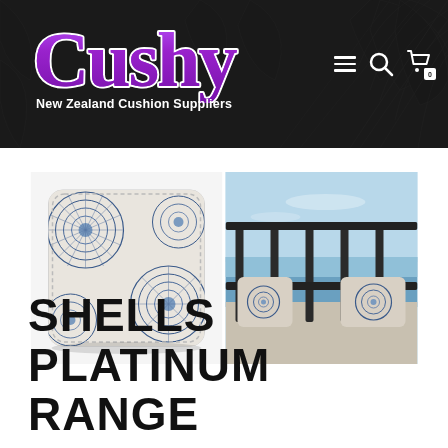Cushy - New Zealand Cushion Suppliers
[Figure (photo): Two product photos: left shows a blue and white shell-pattern decorative cushion on white background; right shows the same cushion in an outdoor setting on a balcony overlooking the sea]
SHELLS PLATINUM RANGE